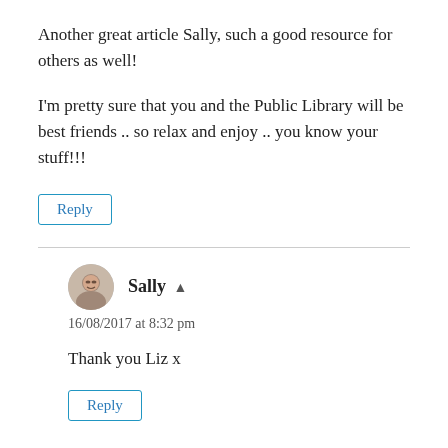Another great article Sally, such a good resource for others as well!
I'm pretty sure that you and the Public Library will be best friends .. so relax and enjoy .. you know your stuff!!!
Reply
Sally ▲
16/08/2017 at 8:32 pm
Thank you Liz x
Reply